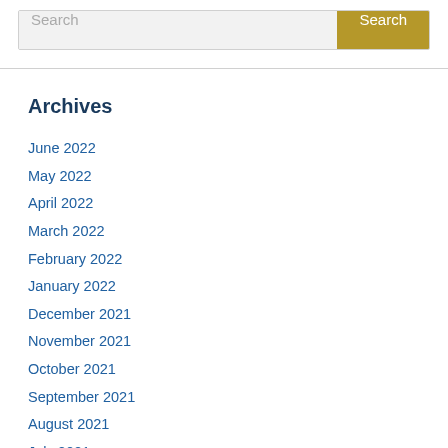Archives
June 2022
May 2022
April 2022
March 2022
February 2022
January 2022
December 2021
November 2021
October 2021
September 2021
August 2021
July 2021
June 2021
May 2021